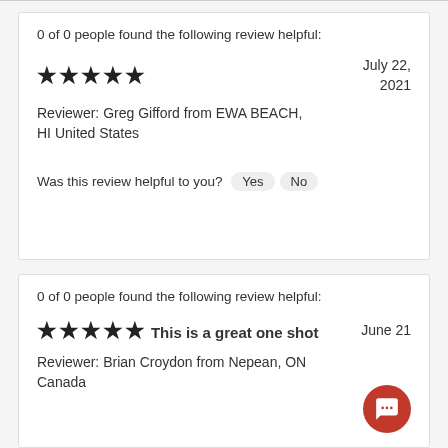0 of 0 people found the following review helpful:
★★★★★   July 22, 2021
Reviewer: Greg Gifford from EWA BEACH, HI United States
Was this review helpful to you?  Yes  No
0 of 0 people found the following review helpful:
★★★★★ This is a great one shot   June 21
Reviewer: Brian Croydon from Nepean, ON Canada